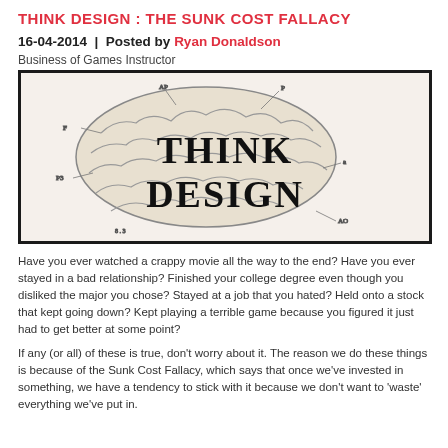THINK DESIGN : THE SUNK COST FALLACY
16-04-2014  |  Posted by Ryan Donaldson
Business of Games Instructor
[Figure (illustration): An anatomical-style illustration of a human brain with the words 'THINK DESIGN' overlaid in bold serif text, on a white background with a thick black border.]
Have you ever watched a crappy movie all the way to the end? Have you ever stayed in a bad relationship? Finished your college degree even though you disliked the major you chose? Stayed at a job that you hated? Held onto a stock that kept going down? Kept playing a terrible game because you figured it just had to get better at some point?
If any (or all) of these is true, don't worry about it. The reason we do these things is because of the Sunk Cost Fallacy, which says that once we've invested in something, we have a tendency to stick with it because we don't want to 'waste' everything we've put in.